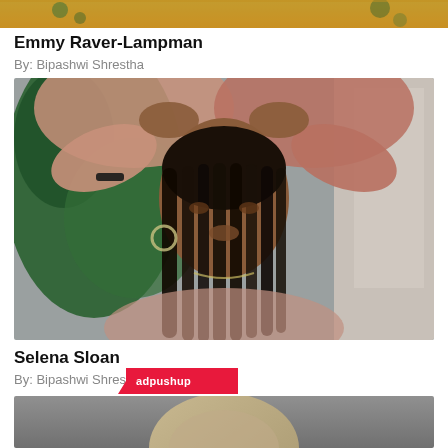[Figure (photo): Partial top image, cropped — appears to be a person in orange/yellow clothing with decorative background]
Emmy Raver-Lampman
By: Bipashwi Shrestha
[Figure (photo): Young Black woman with long box braids, hands raised to her head, wearing a pink floral kimono-style top, with tropical plants in background]
Selena Sloan
By: Bipashwi Shrestha
[Figure (photo): Partial bottom photo showing top of a person's head with light brown/blonde hair against a gray background]
[Figure (logo): adpushup logo badge in red/pink]